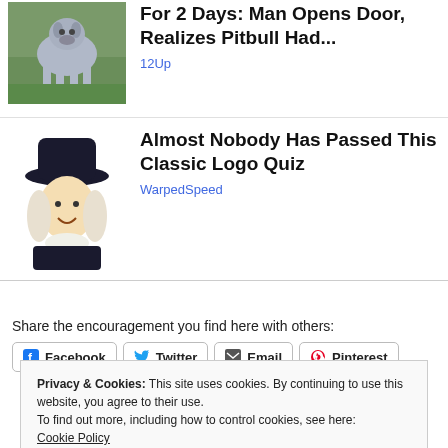[Figure (photo): Photo of a pitbull dog standing outdoors on grass]
For 2 Days: Man Opens Door, Realizes Pitbull Had...
12Up
[Figure (illustration): Illustration of the Quaker Oats man mascot wearing a black hat and white ruffled collar]
Almost Nobody Has Passed This Classic Logo Quiz
WarpedSpeed
Share the encouragement you find here with others:
Facebook
Twitter
Email
Pinterest
Privacy & Cookies: This site uses cookies. By continuing to use this website, you agree to their use.
To find out more, including how to control cookies, see here:
Cookie Policy
Close and accept